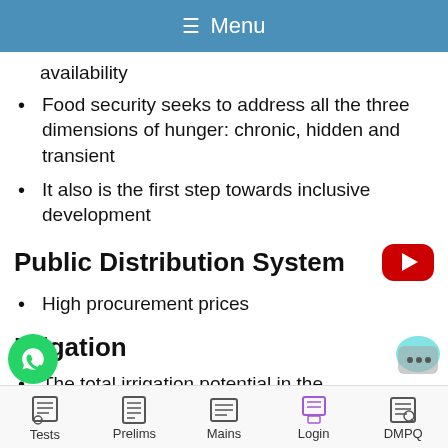≡ Menu
availability
Food security seeks to address all the three dimensions of hunger: chronic, hidden and transient
It also is the first step towards inclusive development
Public Distribution System
High procurement prices
Irrigation
The total irrigation potential in the
Tests  Prelims  Mains  Login  DMPQ